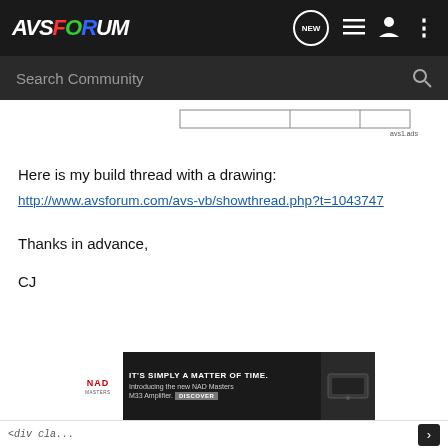AVSForum - Search Community
[Figure (schematic): Partial diagram/drawing strip visible at top of content area with labels and lines]
Here is my build thread with a drawing:
http://www.avsforum.com/avs-vb/showthread.php?t=1043747
Thanks in advance,
CJ
[Figure (screenshot): NAD advertisement banner: IT'S SIMPLY A MATTER OF TIME. Introducing the new NAD Masters M33 Amplifier. DISCOVER]
<div cla...